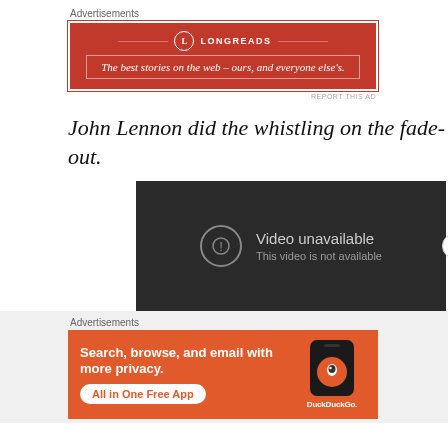Advertisements
[Figure (other): Longreads advertisement banner: red background with white border, logo circle with L, tagline 'The best stories on the web – ours, and everyone else's.']
REPORT THIS AD
John Lennon did the whistling on the fade-out.
[Figure (other): Dark video player showing 'Video unavailable - This video is not available' with an exclamation icon]
Advertisements
[Figure (other): DuckDuckGo advertisement: orange background, text 'Search, browse, and email with more privacy. All in One Free App' with DuckDuckGo logo and phone mockup]